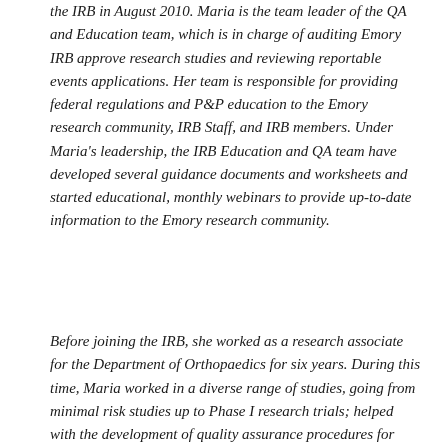the IRB in August 2010. Maria is the team leader of the QA and Education team, which is in charge of auditing Emory IRB approve research studies and reviewing reportable events applications. Her team is responsible for providing federal regulations and P&P education to the Emory research community, IRB Staff, and IRB members. Under Maria's leadership, the IRB Education and QA team have developed several guidance documents and worksheets and started educational, monthly webinars to provide up-to-date information to the Emory research community.
Before joining the IRB, she worked as a research associate for the Department of Orthopaedics for six years. During this time, Maria worked in a diverse range of studies, going from minimal risk studies up to Phase I research trials; helped with the development of quality assurance procedures for their research projects; and was the microsurgery instructor for residents and